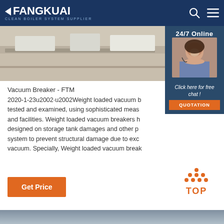FANGKUAI - Clean Boiler System Supplier
[Figure (photo): Industrial boiler equipment photo with flat surfaces, partially visible, alongside a 24/7 online customer service sidebar with a smiling female representative wearing a headset]
Vacuum Breaker - FTM
2020-1-23u2002·u2002Weight loaded vacuum breakers are tested and examined, using sophisticated measures and facilities. Weight loaded vacuum breakers have been designed on storage tank damages and other protection system to prevent structural damage due to excessive vacuum. Specially, Weight loaded vacuum breakers…
Click here for free chat !
QUOTATION
Get Price
[Figure (illustration): Orange dotted triangle TOP button icon for scrolling back to page top]